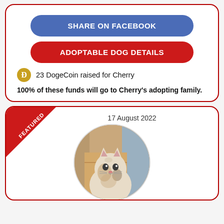SHARE ON FACEBOOK
ADOPTABLE DOG DETAILS
23 DogeCoin raised for Cherry
100% of these funds will go to Cherry's adopting family.
17 August 2022
[Figure (photo): A cat photo inside a circular frame, with a 'FEATURED' ribbon on the top-left corner. The cat appears to be a fluffy calico/tabby cat looking upward, with a cardboard box visible behind it.]